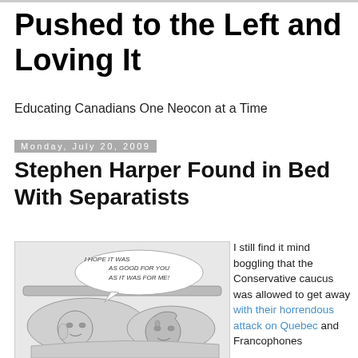Pushed to the Left and Loving It
Educating Canadians One Neocon at a Time
Monday, July 20, 2009
Stephen Harper Found in Bed With Separatists
[Figure (illustration): Political cartoon showing two figures in bed with a speech bubble reading 'I HOPE IT WAS AS GOOD FOR YOU AS IT WAS FOR ME!']
I still find it mind boggling that the Conservative caucus was allowed to get away with their horrendous attack on Quebec and Francophones